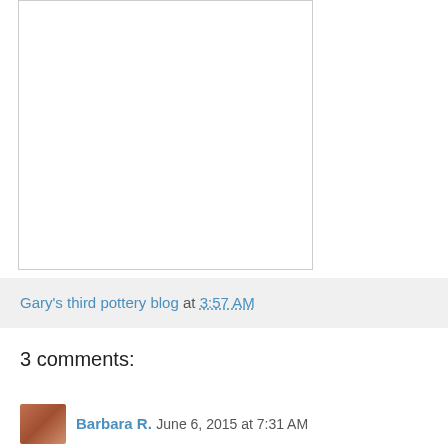[Figure (photo): Empty white image box with light gray border, appearing as a placeholder for a photo in a blog post]
Gary's third pottery blog at 3:57 AM
3 comments:
Barbara R. June 6, 2015 at 7:31 AM